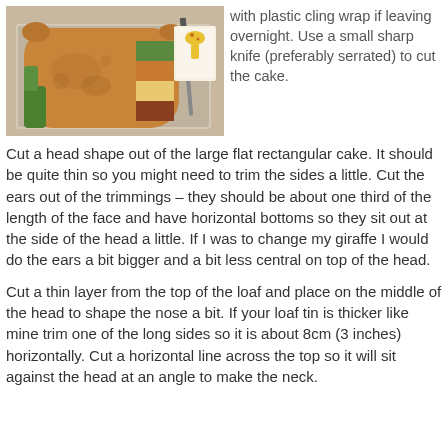[Figure (photo): A giraffe-shaped cake on a baking tray, partially cut, showing colorful green, orange and brown interior layers. A knife rests on the tray alongside a giraffe cake instruction card.]
with plastic cling wrap if leaving overnight. Use a small sharp knife (preferably serrated) to cut the cake.
Cut a head shape out of the large flat rectangular cake. It should be quite thin so you might need to trim the sides a little. Cut the ears out of the trimmings – they should be about one third of the length of the face and have horizontal bottoms so they sit out at the side of the head a little. If I was to change my giraffe I would do the ears a bit bigger and a bit less central on top of the head.
Cut a thin layer from the top of the loaf and place on the middle of the head to shape the nose a bit. If your loaf tin is thicker like mine trim one of the long sides so it is about 8cm (3 inches) horizontally. Cut a horizontal line across the top so it will sit against the head at an angle to make the neck.